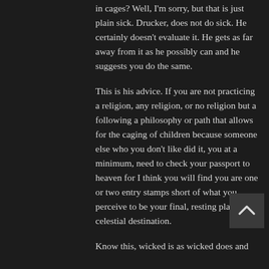in cages? Well, I'm sorry, but that is just plain sick. Drucker, does not do sick. He certainly doesn't evaluate it. He gets as far away from it as he possibly can and he suggests you do the same.
This is his advice. If you are not practicing a religion, any religion, or no religion but a following a philosophy or path that allows for the caging of children because someone else who you don't like did it, you at a minimum, need to check your passport to heaven for I think you will find you are one or two entry stamps short of what you perceive to be your final, resting place and celestial destination.
Know this, wicked is as wicked does and